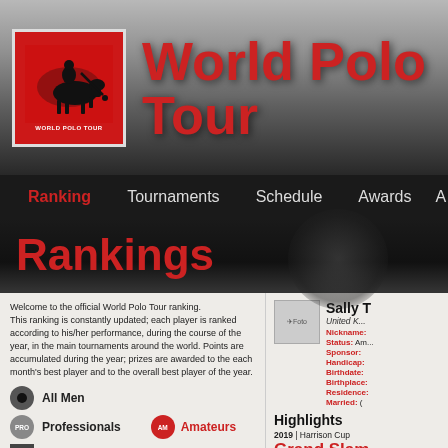[Figure (logo): World Polo Tour logo - red square with polo player on horseback silhouette]
World Polo Tour
Ranking  Tournaments  Schedule  Awards
Rankings
Welcome to the official World Polo Tour ranking. This ranking is constantly updated; each player is ranked according to his/her performance, during the course of the year, in the main tournaments around the world. Points are accumulated during the year; prizes are awarded to the each month's best player and to the overall best player of the year.
All Men
Professionals
Amateurs
All Women
Sally T.
United K...
Nickname:
Status: Am...
Sponsor:
Handicap:
Birthdate:
Birthplace:
Residence:
Married: (
Highlights
2019 | Harrison Cup
Grand Slam